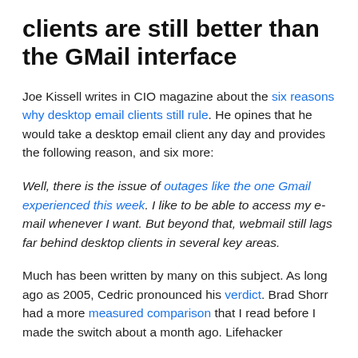clients are still better than the GMail interface
Joe Kissell writes in CIO magazine about the six reasons why desktop email clients still rule. He opines that he would take a desktop email client any day and provides the following reason, and six more:
Well, there is the issue of outages like the one Gmail experienced this week. I like to be able to access my e-mail whenever I want. But beyond that, webmail still lags far behind desktop clients in several key areas.
Much has been written by many on this subject. As long ago as 2005, Cedric pronounced his verdict. Brad Shorr had a more measured comparison that I read before I made the switch about a month ago. Lifehacker...